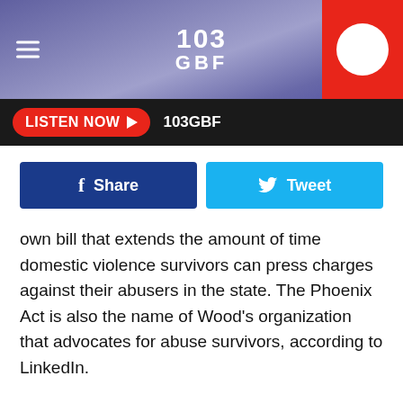103 GBF
LISTEN NOW ▶ 103GBF
[Figure (other): Facebook Share button and Twitter Tweet button row]
own bill that extends the amount of time domestic violence survivors can press charges against their abusers in the state. The Phoenix Act is also the name of Wood's organization that advocates for abuse survivors, according to LinkedIn.
The actress again described assault and torture she said she experienced in a relationship with a man, similarly leaving the alleged abuser's identity a secret.
A year earlier, actress Charlyne Yi accused Manson of harassment, including his allegedly making sexually abusive